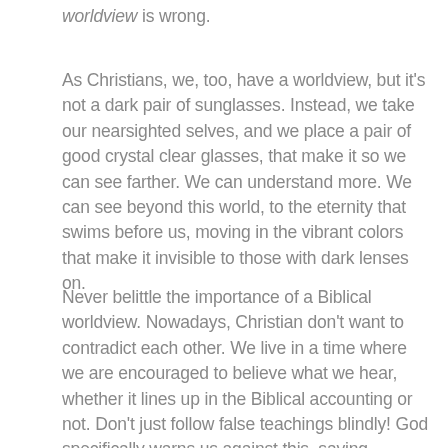worldview is wrong.
As Christians, we, too, have a worldview, but it's not a dark pair of sunglasses. Instead, we take our nearsighted selves, and we place a pair of good crystal clear glasses, that make it so we can see farther. We can understand more. We can see beyond this world, to the eternity that swims before us, moving in the vibrant colors that make it invisible to those with dark lenses on.
Never belittle the importance of a Biblical worldview. Nowadays, Christian don't want to contradict each other. We live in a time where we are encouraged to believe what we hear, whether it lines up in the Biblical accounting or not. Don't just follow false teachings blindly! God specifically warns us against this, saying “Beloved, believe not every spirit, but try the spirits whether